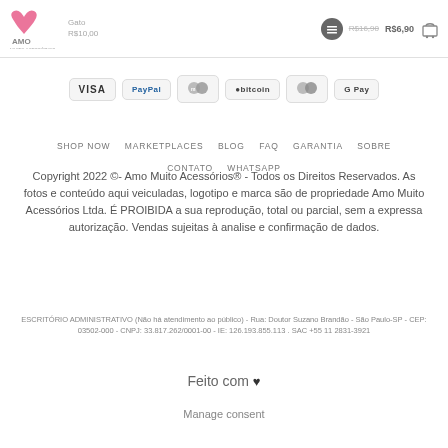AMO MUITO ACESSÓRIOS | Gato | R$10,00 | R$16,90 R$6,90
[Figure (logo): Payment method icons: VISA, PayPal, MasterCard, Obitcoin, Maestro, G Pay]
SHOP NOW   MARKETPLACES   BLOG   FAQ   GARANTIA   SOBRE   CONTATO   WHATSAPP
Copyright 2022 ©- Amo Muito Acessórios® - Todos os Direitos Reservados. As fotos e conteúdo aqui veiculadas, logotipo e marca são de propriedade Amo Muito Acessórios Ltda. É PROIBIDA a sua reprodução, total ou parcial, sem a expressa autorização. Vendas sujeitas à analise e confirmação de dados.
ESCRITÓRIO ADMINISTRATIVO (Não há atendimento ao público) - Rua: Doutor Suzano Brandão - São Paulo-SP - CEP: 03502-000 - CNPJ: 33.817.262/0001-00 - IE: 126.193.855.113 . SAC +55 11 2831-3921
Feito com ♥
Manage consent